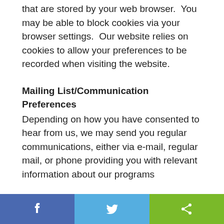that are stored by your web browser.  You may be able to block cookies via your browser settings.  Our website relies on cookies to allow your preferences to be recorded when visiting the website.
Mailing List/Communication Preferences
Depending on how you have consented to hear from us, we may send you regular communications, either via e-mail, regular mail, or phone providing you with relevant information about our programs
[Figure (infographic): Social sharing bar with three buttons: Facebook (blue), Twitter (light blue), and Share (green), each with their respective icons.]